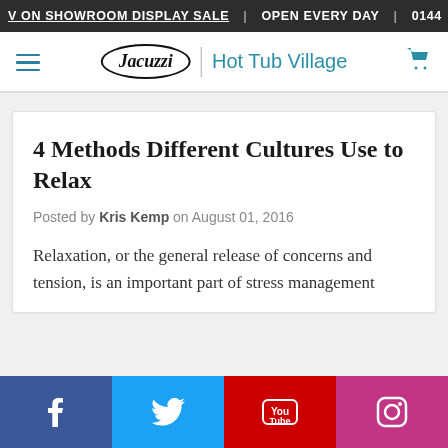V ON SHOWROOM DISPLAY SALE | OPEN EVERY DAY | 0144
[Figure (logo): Jacuzzi Hot Tub Village navigation bar with hamburger menu, Jacuzzi oval logo, Hot Tub Village text, and cart icon]
4 Methods Different Cultures Use to Relax
Posted by Kris Kemp on August 01, 2016
Relaxation, or the general release of concerns and tension, is an important part of stress management
[Figure (infographic): Social media buttons for Facebook, Twitter, YouTube, and Instagram at the bottom of the page]